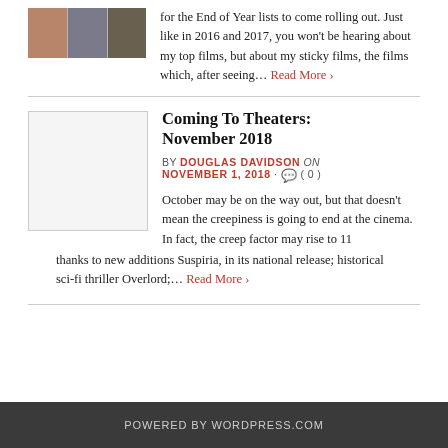[Figure (photo): Thumbnail image strip showing multiple people]
for the End of Year lists to come rolling out. Just like in 2016 and 2017, you won't be hearing about my top films, but about my sticky films, the films which, after seeing… Read More ›
Coming To Theaters: November 2018
BY DOUGLAS DAVIDSON on NOVEMBER 1, 2018 • ( 0 )
[Figure (photo): Blank thumbnail placeholder for Coming To Theaters November 2018 article]
October may be on the way out, but that doesn't mean the creepiness is going to end at the cinema. In fact, the creep factor may rise to 11 thanks to new additions Suspiria, in its national release; historical sci-fi thriller Overlord;… Read More ›
POWERED BY WORDPRESS.COM